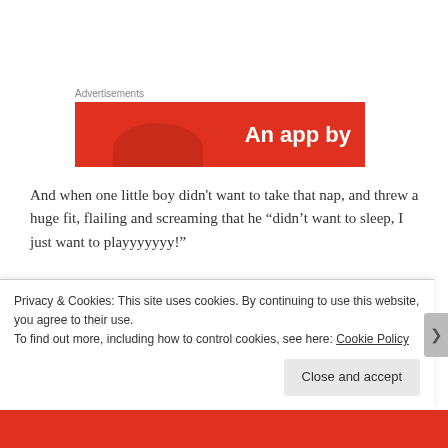Advertisements
[Figure (screenshot): Red advertisement banner with white bold text reading 'An app by']
And when one little boy didn't want to take that nap, and threw a huge fit, flailing and screaming that he “didn’t want to sleep, I just want to playyyyyyy!”
When one little girl runs squealing away from me as I try to get her ready for nap, with a huge poop in her diaper that I
Privacy & Cookies: This site uses cookies. By continuing to use this website, you agree to their use.
To find out more, including how to control cookies, see here: Cookie Policy
Close and accept